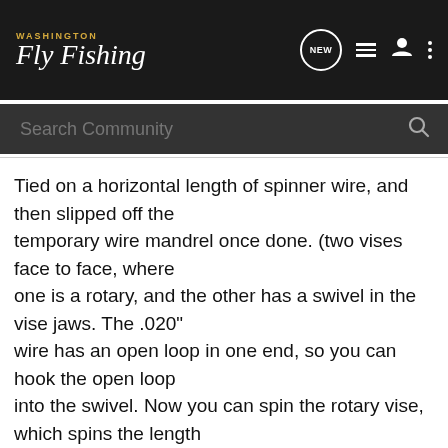Washington Fly Fishing
Tied on a horizontal length of spinner wire, and then slipped off the temporary wire mandrel once done. (two vises face to face, where one is a rotary, and the other has a swivel in the vise jaws. The .020" wire has an open loop in one end, so you can hook the open loop into the swivel. Now you can spin the rotary vise, which spins the length of the wire mandrel. Tie a snelled hook onto the wire. Cover with spawn sack. Tie on barbells. Wind with hackle. Slide the fly off the wire mandrel. Put a drop of Tear Mender at both ends.